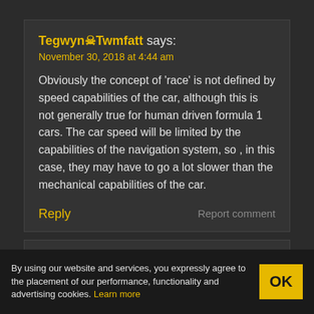Tegwyn☠Twmfatt says:
November 30, 2018 at 4:44 am
Obviously the concept of 'race' is not defined by speed capabilities of the car, although this is not generally true for human driven formula 1 cars. The car speed will be limited by the capabilities of the navigation system, so , in this case, they may have to go a lot slower than the mechanical capabilities of the car.
Reply
Report comment
Roger Cheng says:
By using our website and services, you expressly agree to the placement of our performance, functionality and advertising cookies. Learn more